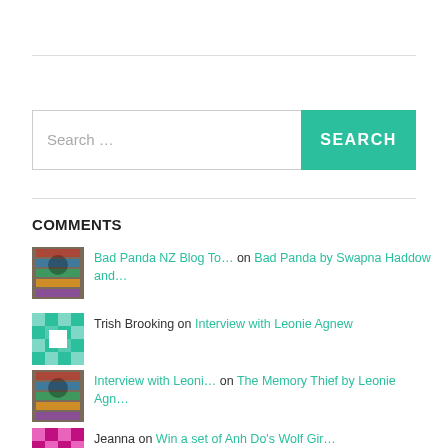[Figure (other): Search bar with text 'Search …' and green SEARCH button]
COMMENTS
Bad Panda NZ Blog To… on Bad Panda by Swapna Haddow and…
Trish Brooking on Interview with Leonie Agnew
Interview with Leoni… on The Memory Thief by Leonie Agn…
Jeanna on Win a set of Anh Do's Wolf Gir…